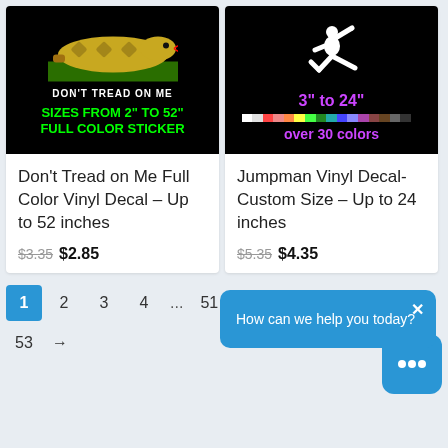[Figure (screenshot): Don't Tread on Me Full Color Vinyl Decal product image on black background with snake icon and green text]
[Figure (screenshot): Jumpman Vinyl Decal product image on black background with white jumpman icon and purple text showing 3 to 24 inch and over 30 colors]
Don't Tread on Me Full Color Vinyl Decal – Up to 52 inches
$3.35 $2.85
Jumpman Vinyl Decal- Custom Size – Up to 24 inches
$5.35 $4.35
How can we help you today?
1 2 3 4 … 51 52 53 →